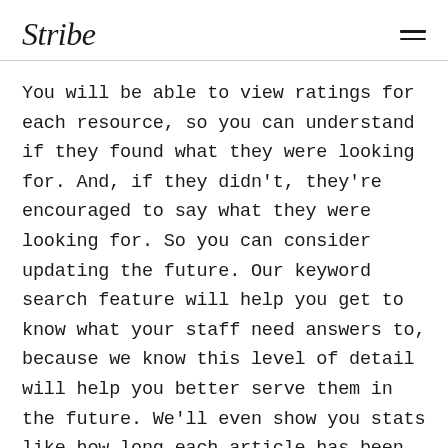Stribe
You will be able to view ratings for each resource, so you can understand if they found what they were looking for. And, if they didn't, they're encouraged to say what they were looking for. So you can consider updating the future. Our keyword search feature will help you get to know what your staff need answers to, because we know this level of detail will help you better serve them in the future. We'll even show you stats like how long each article has been read for, helping you gauge the level of interest in each article you upload.